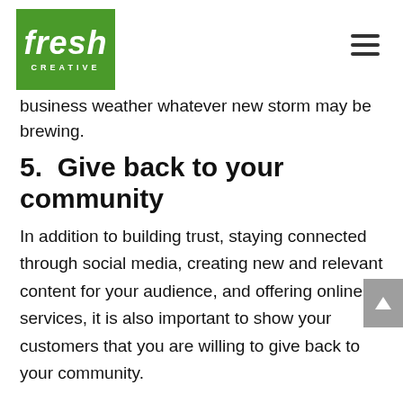[Figure (logo): Fresh Creative logo — green square with white italic bold text 'fresh' and 'CREATIVE' in small caps below]
business weather whatever new storm may be brewing.
5.  Give back to your community
In addition to building trust, staying connected through social media, creating new and relevant content for your audience, and offering online services, it is also important to show your customers that you are willing to give back to your community.